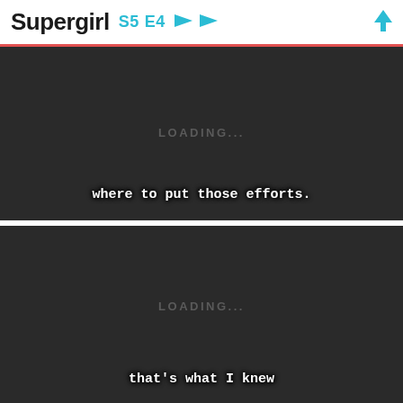Supergirl S5 E4 ← → ↑
[Figure (screenshot): Dark video player frame showing 'LOADING...' text in center and subtitle 'where to put those efforts.' at the bottom]
[Figure (screenshot): Dark video player frame showing 'LOADING...' text in center and subtitle 'that's what I knew' at the bottom]